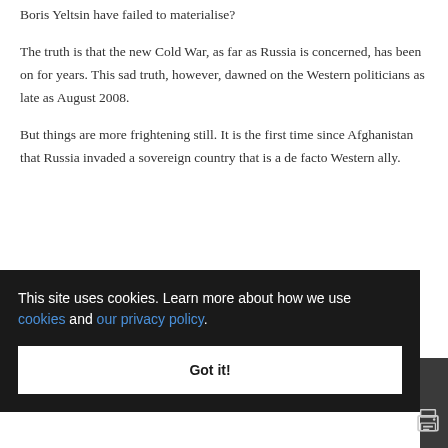Boris Yeltsin have failed to materialise?
The truth is that the new Cold War, as far as Russia is concerned, has been on for years. This sad truth, however, dawned on the Western politicians as late as August 2008.
But things are more frightening still. It is the first time since Afghanistan that Russia invaded a sovereign country that is a de facto Western ally.
nd re-
...wish to
...t in Iraq,
the
[Figure (screenshot): Cookie consent overlay on dark background saying 'This site uses cookies. Learn more about how we use cookies and our privacy policy.' with a 'Got it!' button]